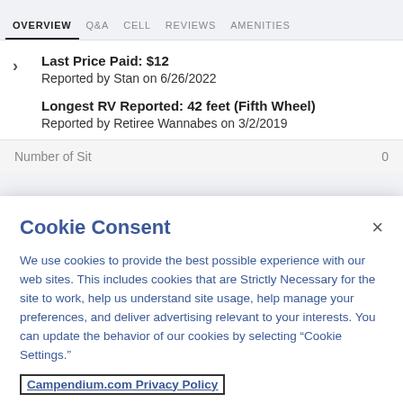OVERVIEW  Q&A  CELL  REVIEWS  AMENITIES
Last Price Paid: $12
Reported by Stan on 6/26/2022

Longest RV Reported: 42 feet (Fifth Wheel)
Reported by Retiree Wannabes on 3/2/2019
Number of Sites...
Cookie Consent
We use cookies to provide the best possible experience with our web sites. This includes cookies that are Strictly Necessary for the site to work, help us understand site usage, help manage your preferences, and deliver advertising relevant to your interests. You can update the behavior of our cookies by selecting “Cookie Settings.”
Campendium.com Privacy Policy
Cookie Settings    Accept Cookies